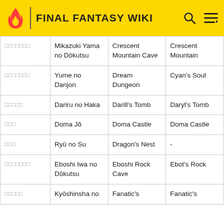FINAL FANTASY WIKI
| Japanese | Romaji | PlayStation | Game Boy Advance |
| --- | --- | --- | --- |
| □□□□□□□ | Mikazuki Yama no Dōkutsu | Crescent Mountain Cave | Crescent Mountain |
| □□□□□□□ | Yume no Danjon | Dream Dungeon | Cyan's Soul |
| □□□□□ | Dariru no Haka | Darill's Tomb | Daryl's Tomb |
| □□□ | Doma Jō | Doma Castle | Doma Castle |
| □□□ | Ryū no Su | Dragon's Nest | - |
| □□□□□□□ | Eboshi Iwa no Dōkutsu | Eboshi Rock Cave | Ebot's Rock |
| □□□□□ | Kyōshinsha no | Fanatic's | Fanatic's |